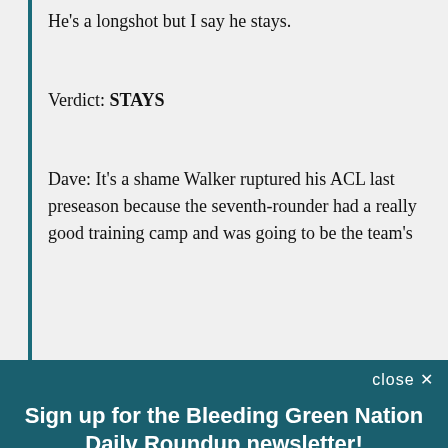He's a longshot but I say he stays.
Verdict: STAYS
Dave: It's a shame Walker ruptured his ACL last preseason because the seventh-rounder had a really good training camp and was going to be the team's
Sign up for the Bleeding Green Nation Daily Roundup newsletter!
A daily roundup of all your Philadelphia Eagles news from Bleeding Green Nation
Email (required)
SUBSCRIBE
By submitting your email, you agree to our Terms and Privacy Notice. You can opt out at any time. This site is protected by reCAPTCHA and the Google Privacy Policy and Terms of Service apply.